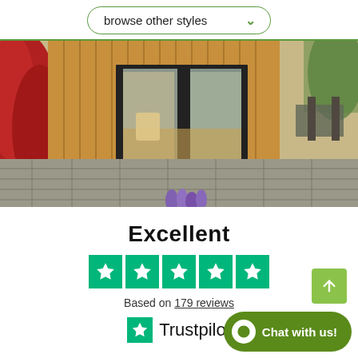browse other styles
[Figure (photo): Modern garden studio/cabin with wood cladding, large sliding glass doors opening to a stone paved patio, red foliage on left, outdoor furniture on right]
Excellent
[Figure (infographic): Five green Trustpilot star rating boxes]
Based on 179 reviews
[Figure (logo): Trustpilot logo with green star icon and text 'Trustpilot']